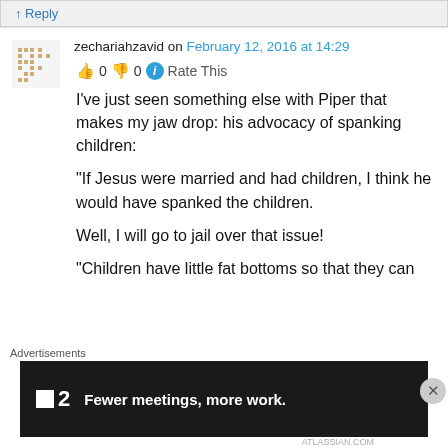↑ Reply
zechariahzavid on February 12, 2016 at 14:29
👍 0 👎 0 ℹ Rate This
I've just seen something else with Piper that makes my jaw drop: his advocacy of spanking children:
“If Jesus were married and had children, I think he would have spanked the children.

Well, I will go to jail over that issue!

“Children have little fat bottoms so that they can
Advertisements
[Figure (screenshot): Advertisement banner: dark background with Fewer meetings, more work. text and logo showing a square icon and the number 2]